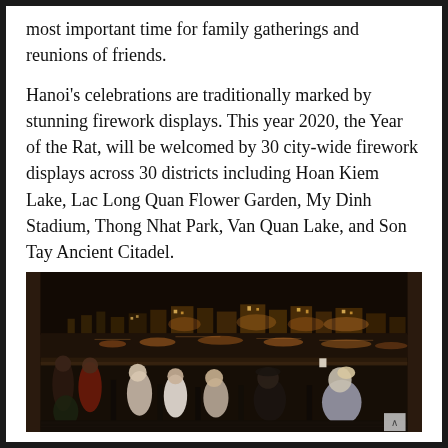most important time for family gatherings and reunions of friends.
Hanoi's celebrations are traditionally marked by stunning firework displays. This year 2020, the Year of the Rat, will be welcomed by 30 city-wide firework displays across 30 districts including Hoan Kiem Lake, Lac Long Quan Flower Garden, My Dinh Stadium, Thong Nhat Park, Van Quan Lake, and Son Tay Ancient Citadel.
[Figure (photo): People seated at an outdoor rooftop bar at night, looking out over a city skyline with lights reflected on water. The city of Hanoi at night with illuminated buildings and a lake or river in the background.]